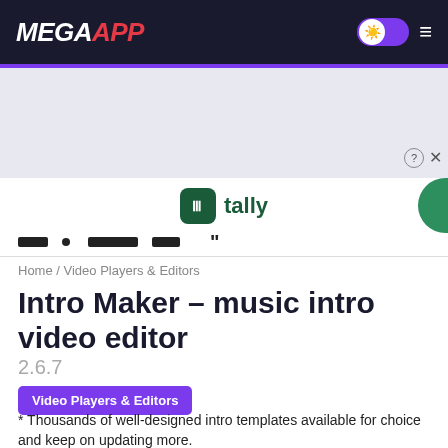MEGAAPP
[Figure (screenshot): Ad banner area with grey background, question mark and X controls visible at right]
[Figure (logo): Tally app logo with green icon and tally text, partially visible advertisement]
Home / Video Players & Editors
Intro Maker – music intro video editor
2.6.7
Video Players & Editors
* Thousands of well-designed intro templates available for choice and keep on updating more.